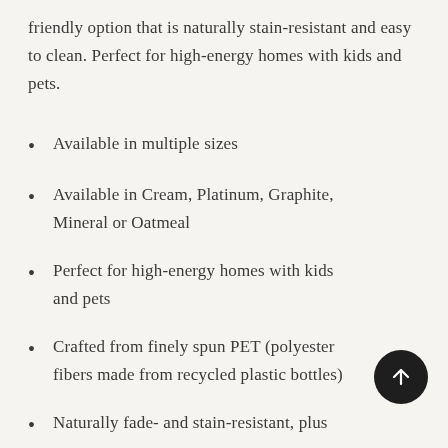friendly option that is naturally stain-resistant and easy to clean. Perfect for high-energy homes with kids and pets.
Available in multiple sizes
Available in Cream, Platinum, Graphite, Mineral or Oatmeal
Perfect for high-energy homes with kids and pets
Crafted from finely spun PET (polyester fibers made from recycled plastic bottles)
Naturally fade- and stain-resistant, plus